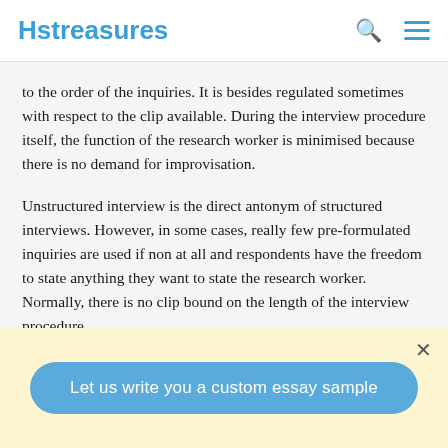Hstreasures
to the order of the inquiries. It is besides regulated sometimes with respect to the clip available. During the interview procedure itself, the function of the research worker is minimised because there is no demand for improvisation.
Unstructured interview is the direct antonym of structured interviews. However, in some cases, really few pre-formulated inquiries are used if non at all and respondents have the freedom to state anything they want to state the research worker. Normally, there is no clip bound on the length of the interview procedure.
Let us write you a custom essay sample